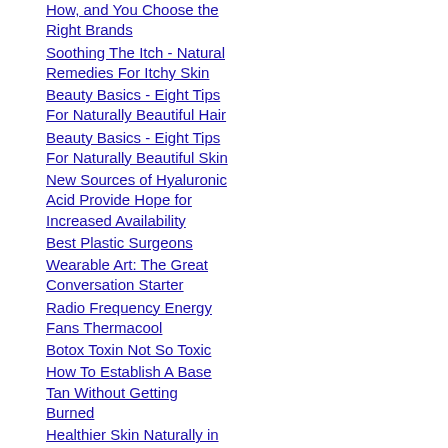How, and You Choose the Right Brands
Soothing The Itch - Natural Remedies For Itchy Skin
Beauty Basics - Eight Tips For Naturally Beautiful Hair
Beauty Basics - Eight Tips For Naturally Beautiful Skin
New Sources of Hyaluronic Acid Provide Hope for Increased Availability
Best Plastic Surgeons
Wearable Art: The Great Conversation Starter
Radio Frequency Energy Fans Thermacool
Botox Toxin Not So Toxic
How To Establish A Base Tan Without Getting Burned
Healthier Skin Naturally in 7 Days or Less
Laser Hair Removal: Hair Raising Experience